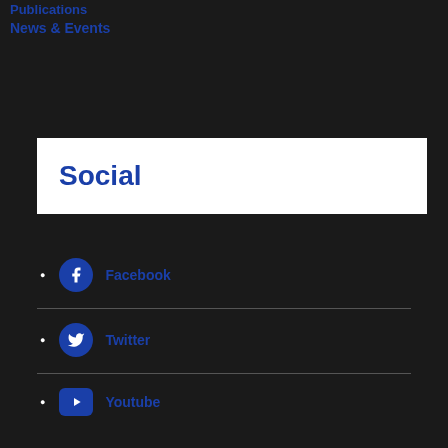Publications
News & Events
Social
Facebook
Twitter
Youtube